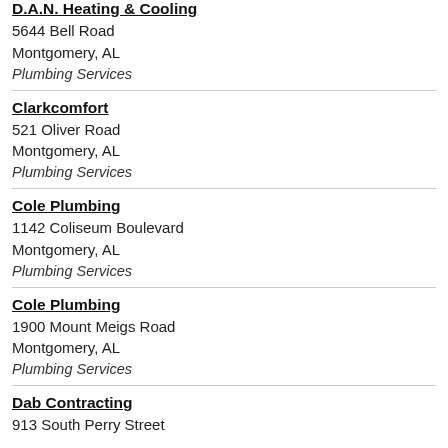D.A.N. Heating & Cooling
5644 Bell Road
Montgomery, AL
Plumbing Services
Clarkcomfort
521 Oliver Road
Montgomery, AL
Plumbing Services
Cole Plumbing
1142 Coliseum Boulevard
Montgomery, AL
Plumbing Services
Cole Plumbing
1900 Mount Meigs Road
Montgomery, AL
Plumbing Services
Dab Contracting
913 South Perry Street